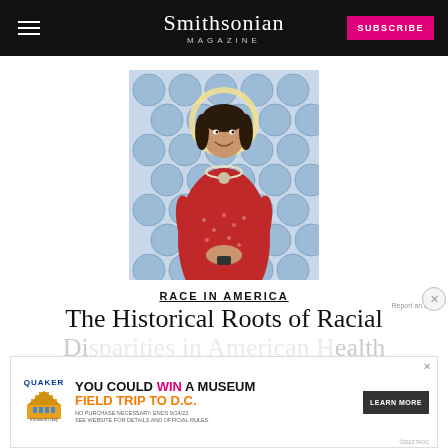Smithsonian MAGAZINE
[Figure (illustration): Painting of a woman in a red floral dress with a halo, standing in front of a blue honeycomb patterned background, smiling and holding something in her clasped hands, wearing a large necklace.]
RACE IN AMERICA
The Historical Roots of Racial Disparities in American Health
[Figure (other): Advertisement banner: Quaker / Museum Day promotion - YOU COULD WIN A MUSEUM FIELD TRIP TO D.C. NO PURCHASE NECESSARY. ENDS 9/14/22. SEE WEBSITE FOR DETAILS AND OFFICIAL RULES.]